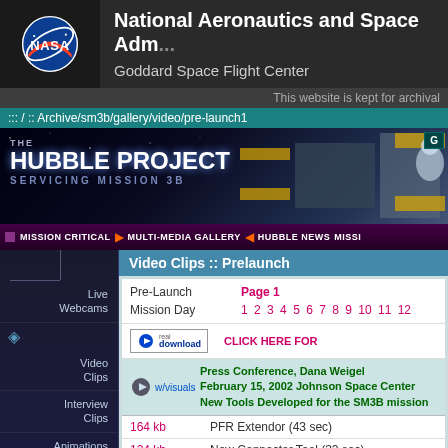National Aeronautics and Space Administration
Goddard Space Flight Center
This website is kept for archival
::: / :: Archive/sm3b/gallery/video/pre-launch1
[Figure (logo): The Hubble Project Servicing Mission 3B banner with space telescope imagery]
Mission Critical | Multi-Media Gallery | Hubble News | Missi...
Video Clips :: Prelaunch
| Label | Links |
| --- | --- |
| Pre-Launch | Page 1 |
| Mission Day | 1 2 3 4 5 6 7 8 9 10 11 12 |
[Figure (logo): RealDownload logo button]
CLICK HERE FO...
w/visuals
Press Conference, Dana Weigel
February 15, 2002 Johnson Space Center
New Tools Developed for the SM3B mission
164 kb - PFR Extendor (43 sec)
124 kb - New Connector Tool (33 sec)
Live Webcams | Video Clips | Interview Clips | Animations | Still Images